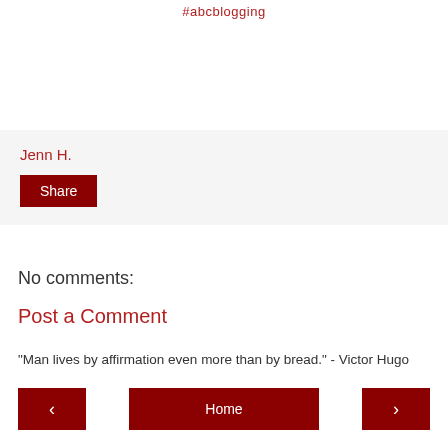#abcblogging
Jenn H.
Share
No comments:
Post a Comment
"Man lives by affirmation even more than by bread." - Victor Hugo
< Home >